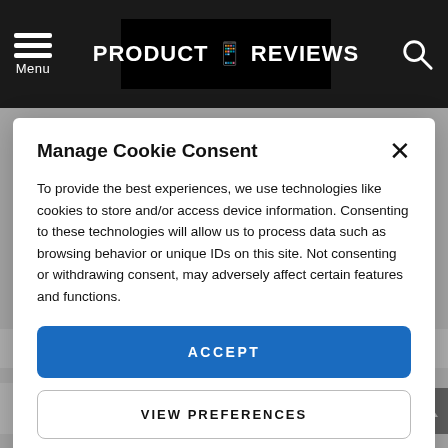Menu | PRODUCT REVIEWS
Manage Cookie Consent
To provide the best experiences, we use technologies like cookies to store and/or access device information. Consenting to these technologies will allow us to process data such as browsing behavior or unique IDs on this site. Not consenting or withdrawing consent, may adversely affect certain features and functions.
ACCEPT
VIEW PREFERENCES
Cookie Policy  Privacy Policy
Top Seller Folding Rattan Lounger From Studio
This Lanai Folding Rattan lounger is revealing to be a top seller at Studio for those looking for a more cushioned